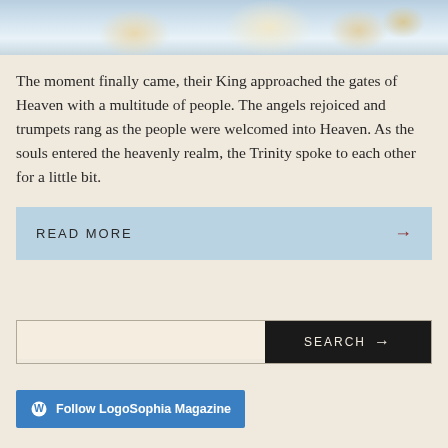[Figure (illustration): Partial view of a classical religious painting showing angels and clouds in blue and cream tones, cropped at top]
The moment finally came, their King approached the gates of Heaven with a multitude of people. The angels rejoiced and trumpets rang as the people were welcomed into Heaven. As the souls entered the heavenly realm, the Trinity spoke to each other for a little bit.
READ MORE →
SEARCH →
Follow LogoSophia Magazine